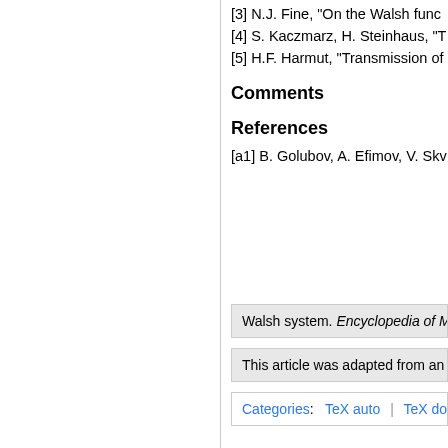[3] N.J. Fine, "On the Walsh func
[4] S. Kaczmarz, H. Steinhaus, "T
[5] H.F. Harmut, "Transmission of
Comments
References
[a1] B. Golubov, A. Efimov, V. Skv
Walsh system. Encyclopedia of Math
This article was adapted from an o
Categories:  TeX auto | TeX done